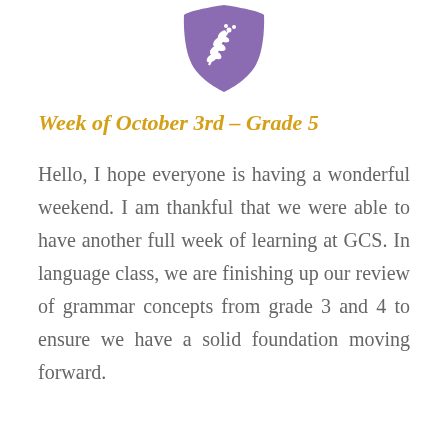[Figure (logo): Purple shield-shaped school crest with white olive branch design in the center]
Week of October 3rd – Grade 5
Hello, I hope everyone is having a wonderful weekend. I am thankful that we were able to have another full week of learning at GCS. In language class, we are finishing up our review of grammar concepts from grade 3 and 4 to ensure we have a solid foundation moving forward.